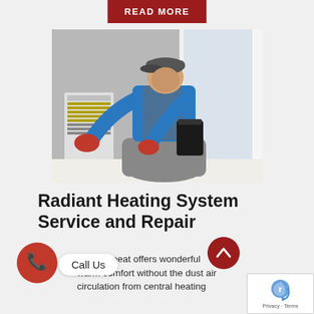READ MORE
[Figure (photo): A technician wearing a blue shirt, grey work pants, and red gloves, kneeling and working on a radiant heating system panel near a window.]
Radiant Heating System Service and Repair
Radiant heat offers wonderful warm comfort without the dust air circulation from central heating
Call Us
Privacy · Terms